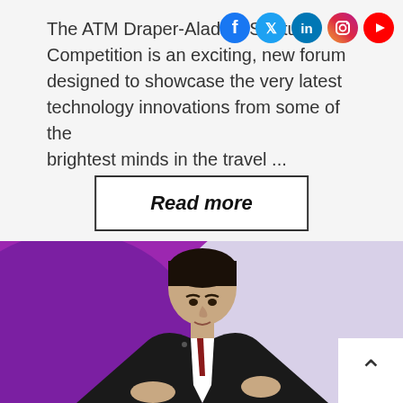The ATM Draper-Aladdin Startup Competition is an exciting, new forum designed to showcase the very latest technology innovations from some of the brightest minds in the travel ...
[Figure (infographic): Social media icons: Facebook (blue), Twitter (blue), LinkedIn (blue), Instagram (gradient), YouTube (red)]
Read more
[Figure (photo): A man in a dark suit with a red tie speaking at an event with a purple and light purple background]